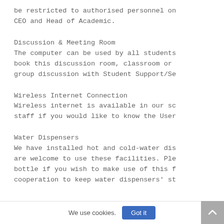be restricted to authorised personnel on CEO and Head of Academic.
Discussion & Meeting Room
The computer can be used by all students book this discussion room, classroom or group discussion with Student Support/Se
Wireless Internet Connection
Wireless internet is available in our sc staff if you would like to know the User
Water Dispensers
We have installed hot and cold-water dis are welcome to use these facilities. Ple bottle if you wish to make use of this f cooperation to keep water dispensers' st
We use cookies. Got it